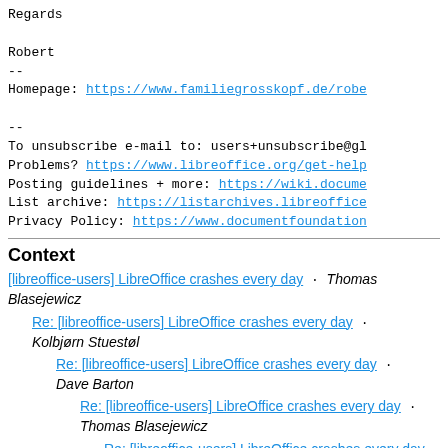Regards

Robert
--
Homepage: https://www.familiegrosskopf.de/robe
--
To unsubscribe e-mail to: users+unsubscribe@gl
Problems? https://www.libreoffice.org/get-help
Posting guidelines + more: https://wiki.docume
List archive: https://listarchives.libreoffice
Privacy Policy: https://www.documentfoundation
Context
[libreoffice-users] LibreOffice crashes every day · Thomas Blasejewicz
Re: [libreoffice-users] LibreOffice crashes every day · Kolbjørn Stuestøl
Re: [libreoffice-users] LibreOffice crashes every day · Dave Barton
Re: [libreoffice-users] LibreOffice crashes every day · Thomas Blasejewicz
Re: [libreoffice-users] LibreOffice crashes every day · Robert Großkopf